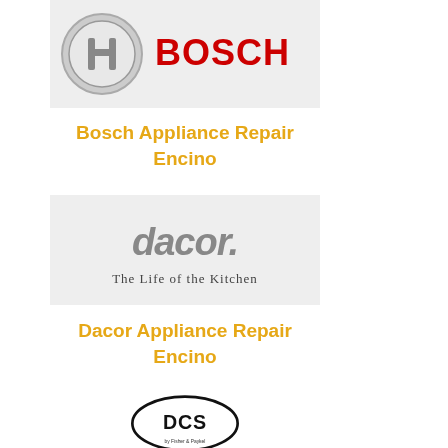[Figure (logo): Bosch logo with circular emblem and red BOSCH text on light gray background]
Bosch Appliance Repair Encino
[Figure (logo): Dacor logo with chrome-style 'dacor.' text and tagline 'The Life of the Kitchen' on light gray background]
Dacor Appliance Repair Encino
[Figure (logo): DCS by Fisher & Paykel logo with bold oval emblem on white background, partially visible]